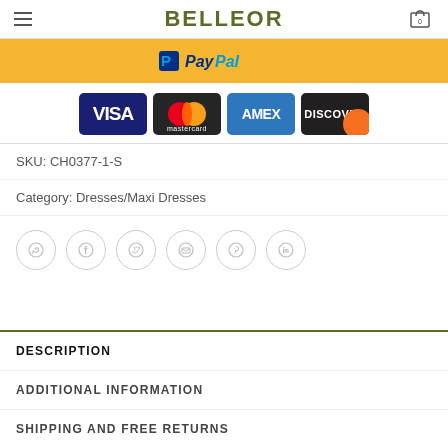BELLEOR
[Figure (logo): PayPal payment button on yellow/gold background]
[Figure (infographic): Credit card logos: VISA, Mastercard, AMEX, DISCOVER]
SKU: CH0377-1-S
Category: Dresses/Maxi Dresses
[Figure (infographic): Social media share icons: WhatsApp, Facebook, Twitter, Email, Pinterest, LinkedIn]
DESCRIPTION
ADDITIONAL INFORMATION
SHIPPING AND FREE RETURNS